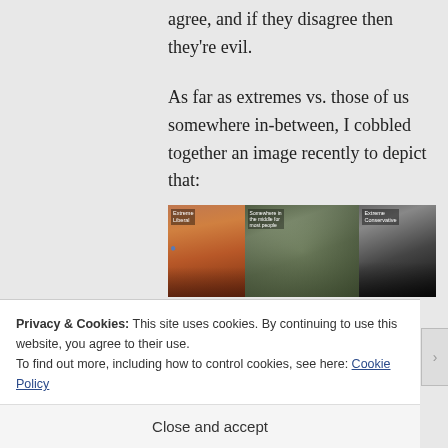agree, and if they disagree then they're evil.
As far as extremes vs. those of us somewhere in-between, I cobbled together an image recently to depict that:
[Figure (photo): Three-panel composite image showing: left panel - a young woman at a protest labeled 'Extreme Liberal', middle panel - a large crowd labeled with text, right panel - a man in a suit labeled 'Extreme Conservative']
Privacy & Cookies: This site uses cookies. By continuing to use this website, you agree to their use.
To find out more, including how to control cookies, see here: Cookie Policy
Close and accept